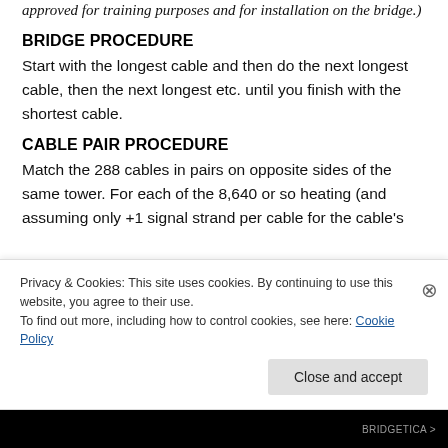approved for training purposes and for installation on the bridge.)
BRIDGE PROCEDURE
Start with the longest cable and then do the next longest cable, then the next longest etc. until you finish with the shortest cable.
CABLE PAIR PROCEDURE
Match the 288 cables in pairs on opposite sides of the same tower. For each of the 8,640 or so heating (and assuming only +1 signal strand per cable for the cable's
Privacy & Cookies: This site uses cookies. By continuing to use this website, you agree to their use.
To find out more, including how to control cookies, see here: Cookie Policy